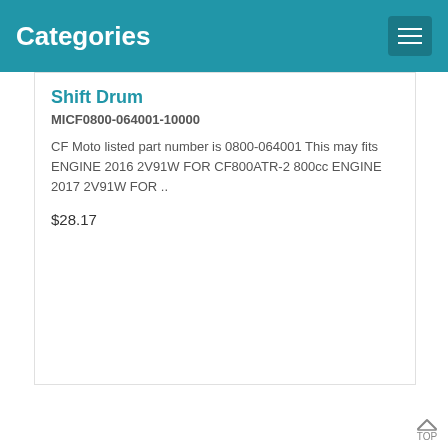Categories
Shift Drum
MICF0800-064001-10000
CF Moto listed part number is 0800-064001 This may fits ENGINE 2016 2V91W FOR CF800ATR-2 800cc ENGINE 2017 2V91W FOR ..
$28.17
[Figure (screenshot): Action bar with cart, heart, and compare icons]
[Figure (photo): Rocker Arm Parking part image with MOPCH watermark]
Rocker Arm, Parking
MICF0800-063001
CF Moto listed part number is 0800-063001 This may fits ENGINE